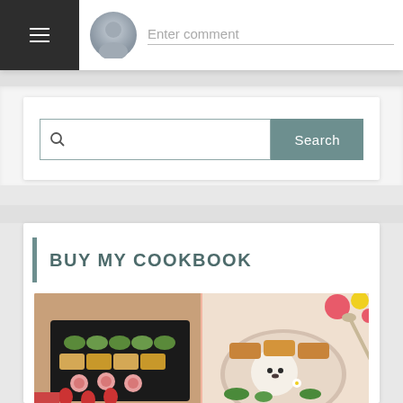[Figure (screenshot): Website UI screenshot showing a comment input field with avatar and hamburger menu at top, a search bar with Search button in a white card, and a 'BUY MY COOKBOOK' section heading with food photography below.]
Enter comment
Search
BUY MY COOKBOOK
[Figure (photo): Two bento box food photos side by side — left shows sushi rolls and strawberries in a black tray, right shows a bento with bear-shaped rice and fried foods.]